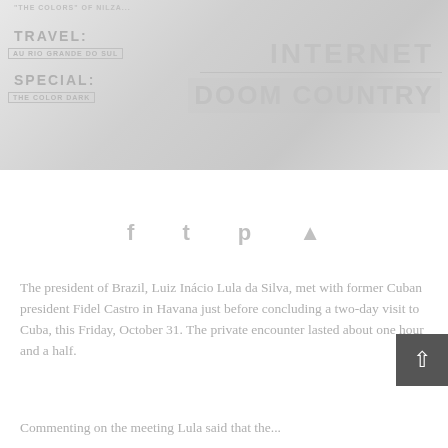[Figure (photo): Faded/watermark style magazine cover image with overlaid text labels including TRAVEL: AU RIO GRANDE DO SUL, SPECIAL: THE COLOR DARK, INTERNET, DOOM COUNTRY]
The president of Brazil, Luiz Inácio Lula da Silva, met with former Cuban president Fidel Castro in Havana just before concluding a two-day visit to Cuba, this Friday, October 31. The private encounter lasted about one hour and a half.
Commenting on the meeting Lula said that the...